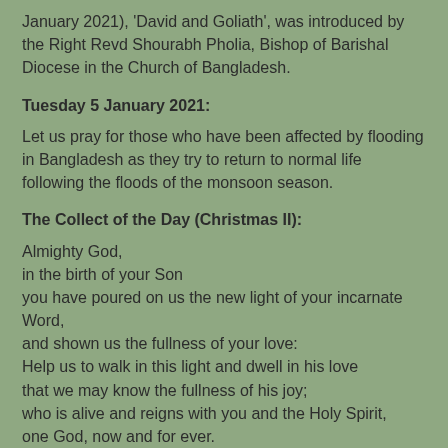January 2021), 'David and Goliath', was introduced by the Right Revd Shourabh Pholia, Bishop of Barishal Diocese in the Church of Bangladesh.
Tuesday 5 January 2021:
Let us pray for those who have been affected by flooding in Bangladesh as they try to return to normal life following the floods of the monsoon season.
The Collect of the Day (Christmas II):
Almighty God,
in the birth of your Son
you have poured on us the new light of your incarnate Word,
and shown us the fullness of your love:
Help us to walk in this light and dwell in his love
that we may know the fullness of his joy;
who is alive and reigns with you and the Holy Spirit,
one God, now and for ever.
John 1: 43-51 (NRSVA):